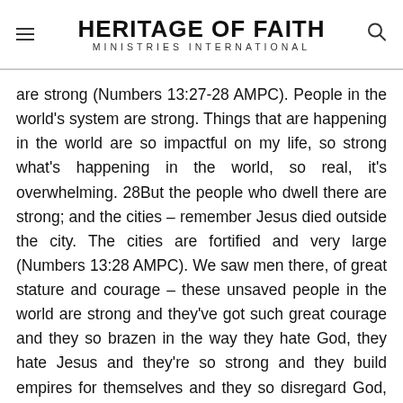HERITAGE OF FAITH MINISTRIES INTERNATIONAL
are strong (Numbers 13:27-28 AMPC). People in the world's system are strong. Things that are happening in the world are so impactful on my life, so strong what's happening in the world, so real, it's overwhelming. 28But the people who dwell there are strong; and the cities – remember Jesus died outside the city. The cities are fortified and very large (Numbers 13:28 AMPC). We saw men there, of great stature and courage – these unsaved people in the world are strong and they've got such great courage and they so brazen in the way they hate God, they hate Jesus and they're so strong and they build empires for themselves and they so disregard God, and they're so popular and they're so famous and they're so big and they're so talented and they're so rich and they have such great courage. See how they stand and do